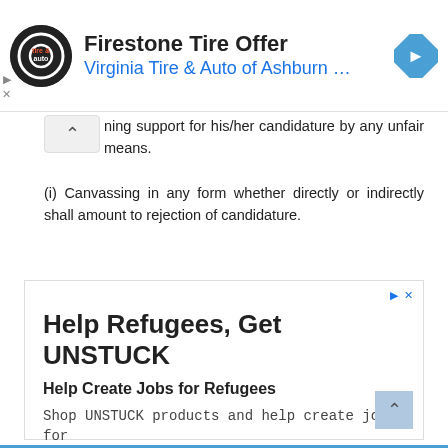[Figure (screenshot): Firestone Tire Offer advertisement banner with Virginia Tire & Auto of Ashburn logo and navigation icon]
ning support for his/her candidature by any unfair means.
(i) Canvassing in any form whether directly or indirectly shall amount to rejection of candidature.
[Figure (screenshot): Help Refugees, Get UNSTUCK advertisement. Help Create Jobs for Refugees. Shop UNSTUCK products and help create jobs for refugees. unstuck.org]